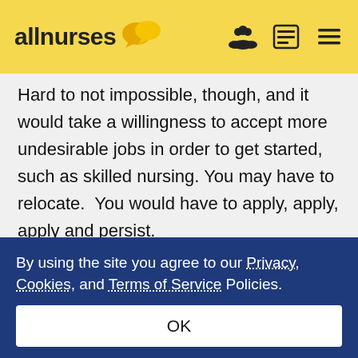allnurses
Hard to not impossible, though, and it would take a willingness to accept more undesirable jobs in order to get started, such as skilled nursing. You may have to relocate. You would have to apply, apply, apply and persist.

You are still interested in becoming an NP,
By using the site you agree to our Privacy, Cookies, and Terms of Service Policies.
OK
and studying. With your interest in